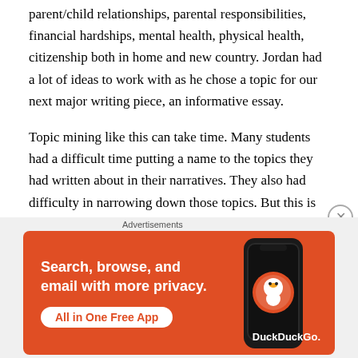parent/child relationships, parental responsibilities, financial hardships, mental health, physical health, citizenship both in home and new country. Jordan had a lot of ideas to work with as he chose a topic for our next major writing piece, an informative essay.
Topic mining like this can take time. Many students had a difficult time putting a name to the topics they had written about in their narratives. They also had difficulty in narrowing down those topics. But this is the beauty of talk in a workshop classroom–students talked about their writing. They reflected on it more. They shared their
Advertisements
[Figure (other): DuckDuckGo advertisement banner with orange background. Text reads 'Search, browse, and email with more privacy. All in One Free App'. Shows a smartphone with DuckDuckGo logo and duck icon.]